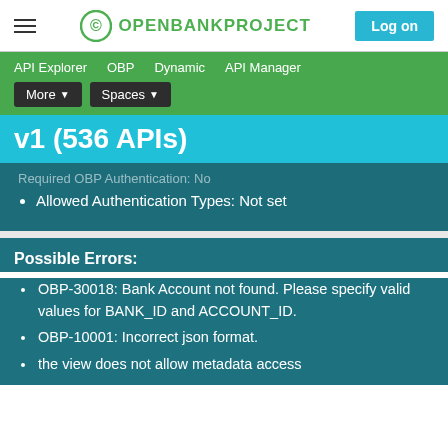OPENBANKPROJECT | Log on
API Explorer   OBP   Dynamic   API Manager   More ▾   Spaces ▾
v1 (536 APIs)
Allowed Authentication Types: Not set
Possible Errors:
OBP-30018: Bank Account not found. Please specify valid values for BANK_ID and ACCOUNT_ID.
OBP-10001: Incorrect json format.
the view does not allow metadata access